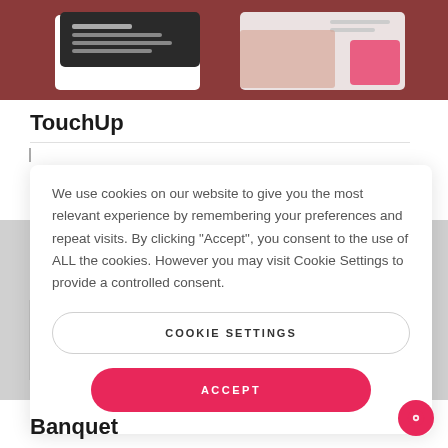[Figure (screenshot): Top banner showing a website mockup with dark card and light card UI elements on a dark red/mauve background]
TouchUp
We use cookies on our website to give you the most relevant experience by remembering your preferences and repeat visits. By clicking “Accept”, you consent to the use of ALL the cookies. However you may visit Cookie Settings to provide a controlled consent.
COOKIE SETTINGS
ACCEPT
Banquet